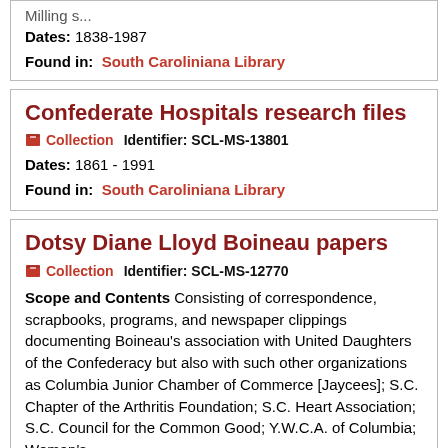Milling s...
Dates: 1838-1987
Found in: South Caroliniana Library
Confederate Hospitals research files
Collection   Identifier: SCL-MS-13801
Dates: 1861 - 1991
Found in: South Caroliniana Library
Dotsy Diane Lloyd Boineau papers
Collection   Identifier: SCL-MS-12770
Scope and Contents Consisting of correspondence, scrapbooks, programs, and newspaper clippings documenting Boineau's association with United Daughters of the Confederacy but also with such other organizations as Columbia Junior Chamber of Commerce [Jaycees]; S.C. Chapter of the Arthritis Foundation; S.C. Heart Association; S.C. Council for the Common Good; Y.W.C.A. of Columbia; Woman's